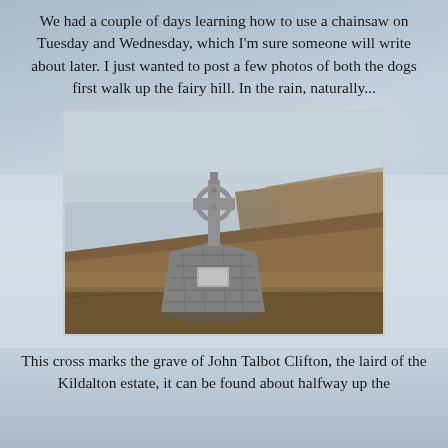We had a couple of days learning how to use a chainsaw on Tuesday and Wednesday, which I'm sure someone will write about later. I just wanted to post a few photos of both the dogs first walk up the fairy hill. In the rain, naturally...
[Figure (photo): A stone cairn with a Celtic cross on top, set on a hillside with brown grass and heather. The sky is pale/overcast.]
This cross marks the grave of John Talbot Clifton, the laird of the Kildalton estate, it can be found about halfway up the